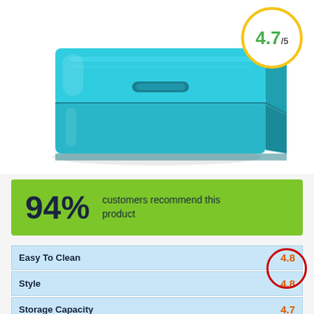[Figure (photo): Turquoise/teal metal bread box product photo on white background]
4.7/5
94% customers recommend this product
| Category | Rating |
| --- | --- |
| Easy To Clean | 4.8 |
| Style | 4.8 |
| Storage Capacity | 4.7 |
| Durability |  |
| Freshness | 4.6 |